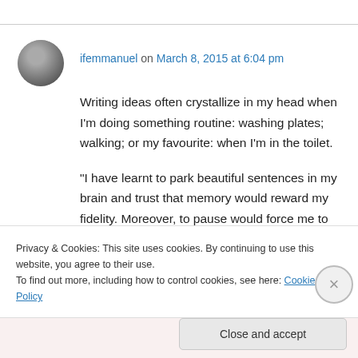ifemmanuel on March 8, 2015 at 6:04 pm
Writing ideas often crystallize in my head when I'm doing something routine: washing plates; walking; or my favourite: when I'm in the toilet.
“I have learnt to park beautiful sentences in my brain and trust that memory would reward my fidelity. Moreover, to pause would force me to rationalize and logic would provoke miscarriage or stillbirth.”
Privacy & Cookies: This site uses cookies. By continuing to use this website, you agree to their use.
To find out more, including how to control cookies, see here: Cookie Policy
Close and accept